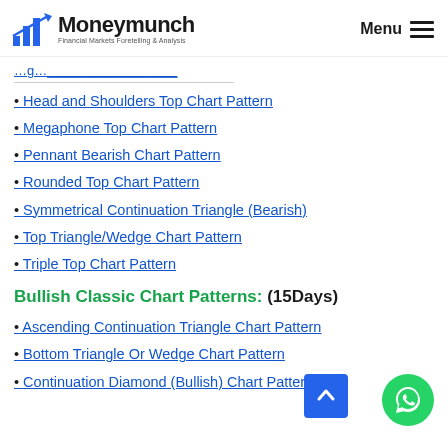Moneymunch — Financial Markets Foretelling & Analysis | Menu
• Head and Shoulders Top Chart Pattern
• Megaphone Top Chart Pattern
• Pennant Bearish Chart Pattern
• Rounded Top Chart Pattern
• Symmetrical Continuation Triangle (Bearish)
• Top Triangle/Wedge Chart Pattern
• Triple Top Chart Pattern
Bullish Classic Chart Patterns: (15Days)
• Ascending Continuation Triangle Chart Pattern
• Bottom Triangle Or Wedge Chart Pattern
• Continuation Diamond (Bullish) Chart Pattern